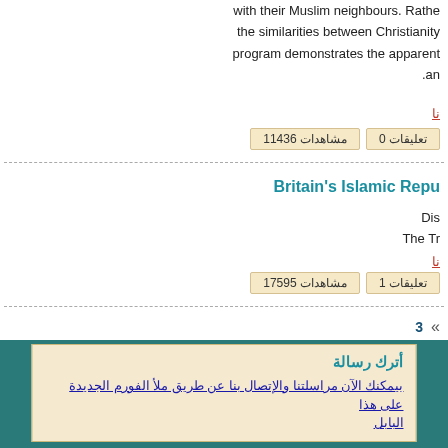with their Muslim neighbours. Rather the similarities between Christianity program demonstrates the apparent .an
نا
مشاهدات 11436   تعليقات 0
Britain's Islamic Repu
Dis The Tr
نا
مشاهدات 17595   تعليقات 1
« 3
أترك رسالة
بيمكنك الآن مراسلتنا والإتصال بنا عن طريق ملأ الفورم الجديدة على هذا البابل